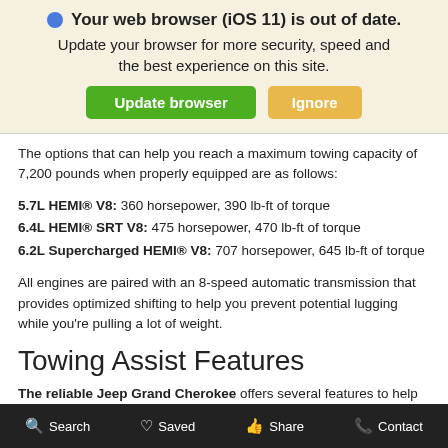🌐 Your web browser (iOS 11) is out of date. Update your browser for more security, speed and the best experience on this site.
Update browser | Ignore
The options that can help you reach a maximum towing capacity of 7,200 pounds when properly equipped are as follows:
5.7L HEMI® V8: 360 horsepower, 390 lb-ft of torque
6.4L HEMI® SRT V8: 475 horsepower, 470 lb-ft of torque
6.2L Supercharged HEMI® V8: 707 horsepower, 645 lb-ft of torque
All engines are paired with an 8-speed automatic transmission that provides optimized shifting to help you prevent potential lugging while you're pulling a lot of weight.
Towing Assist Features
The reliable Jeep Grand Cherokee offers several features to help you have a safe and effective towing experience. These include features like
Search  Saved  Share  Contact